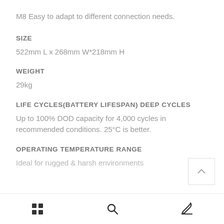M8 Easy to adapt to different connection needs.
SIZE
522mm L x 268mm W*218mm H
WEIGHT
29kg
LIFE CYCLES(BATTERY LIFESPAN) DEEP CYCLES
Up to 100% DOD capacity for 4,000 cycles in recommended conditions. 25°C is better.
OPERATING TEMPERATURE RANGE
Ideal for rugged & harsh environments
Grid | Search | Edit icons